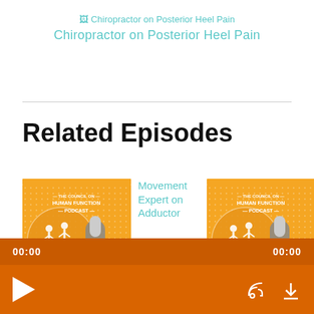[Figure (screenshot): Broken image placeholder icon for Chiropractor on Posterior Heel Pain podcast thumbnail]
Chiropractor on Posterior Heel Pain
Related Episodes
[Figure (illustration): The Council on Human Function Podcast thumbnail - orange and white with running figures and microphone]
Movement Expert on Adductor
[Figure (illustration): The Council on Human Function Podcast thumbnail - orange and white with running figures and microphone]
COHF 035: Sprained left ankle of a Basketball player
00:00
00:00